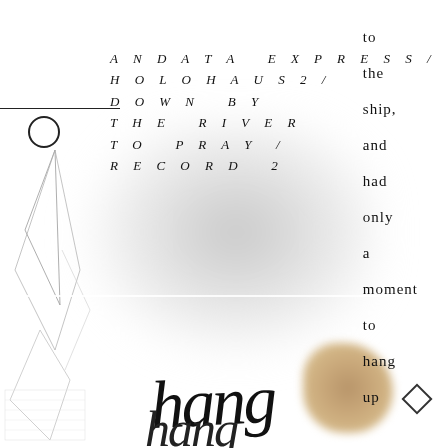ANDATA EXPRESS / HOLOHAUS2 / DOWN BY THE RIVER TO PRAY / RECORD 2
to the ship, and had only a moment to hang up
[Figure (illustration): Abstract geometric line art with triangular/diamond shapes on left side, blurred grey shape in background, white horizontal line across, brown/tan color patch at bottom right, calligraphic overlapping text 'hang' and decorative letterforms at bottom, small diamond outline at bottom right corner, horizontal line with circle at top left.]